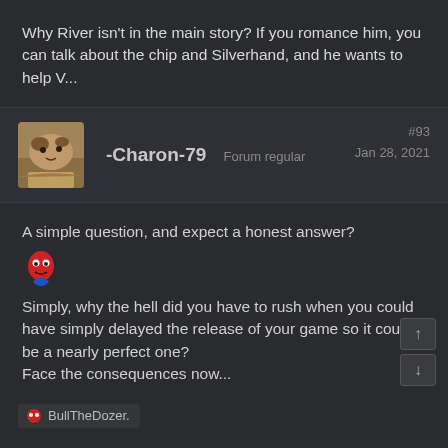Why River isn't in the main story? If you romance him, you can talk about the chip and Silverhand, and he wants to help V...
-Charon-79  Forum regular  #93  Jan 28, 2021
A simple question, and expect a honest answer?
🐦
Simply, why the hell did you have to rush when you could have simply delayed the release of your game so it could be a nearly perfect one?
Face the consequences now...
BullTheDozer.